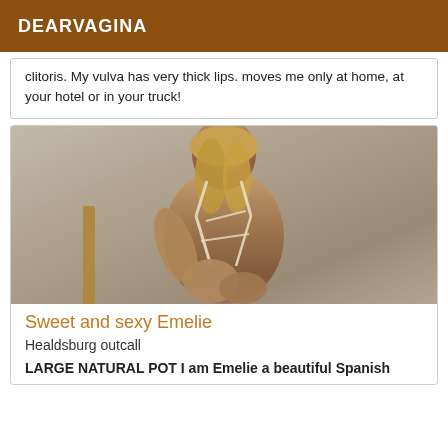DEARVAGINA
clitoris. My vulva has very thick lips. moves me only at home, at your hotel or in your truck!
[Figure (photo): A woman with long blonde hair sitting on a chair, wearing a strappy beige lingerie outfit, photographed against a blurred grey background.]
Sweet and sexy Emelie
Healdsburg outcall
LARGE NATURAL POT I am Emelie a beautiful Spanish